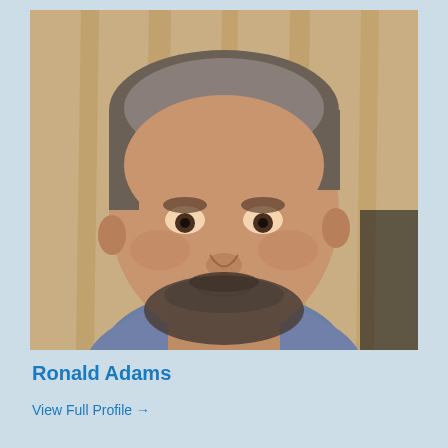[Figure (photo): Headshot photo of a middle-aged man with short grey-brown hair and a short beard, wearing a blue-grey shirt, photographed against a wooden background.]
Ronald Adams
View Full Profile →